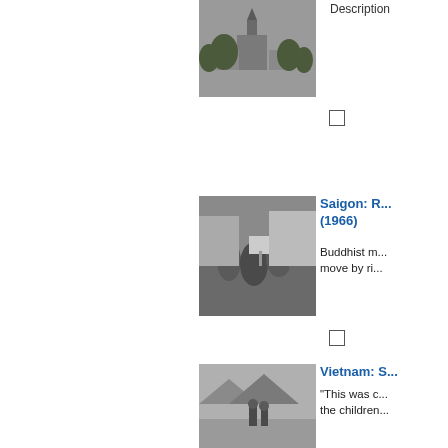Description
[Figure (photo): Grayscale photo of a cathedral/church building with trees]
[Figure (photo): Grayscale photo of Buddhist monks or protesters in a street scene]
Saigon: R... (1966)
Buddhist m... move by ri...
[Figure (photo): Grayscale photo of people on an airfield or open area]
Vietnam: S...
"This was c... the children...
[Figure (photo): Grayscale photo of a large crowd with signs/banners]
Vietnam: S... Demonstr...
SOME THI... RENDERED...
[Figure (photo): Grayscale photo, partially visible at bottom]
South Vie...